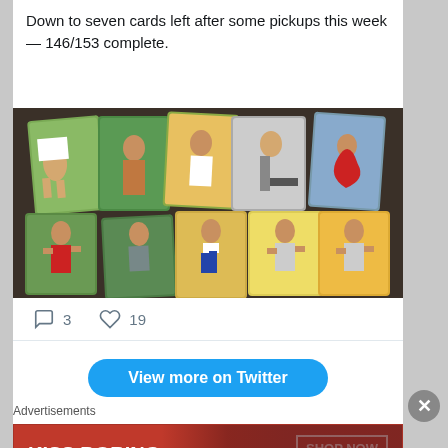Down to seven cards left after some pickups this week — 146/153 complete.
[Figure (photo): Collection of vintage sports trading cards showing athletes in various poses — track, boxing, and gymnastics. Ten cards arranged in two rows on a dark background.]
3   19
View more on Twitter
Advertisements
[Figure (photo): Macy's lipstick advertisement with red background: 'KISS BORING LIPS GOODBYE' with a SHOP NOW button and the Macy's star logo. A woman's face showing lips is partially visible.]